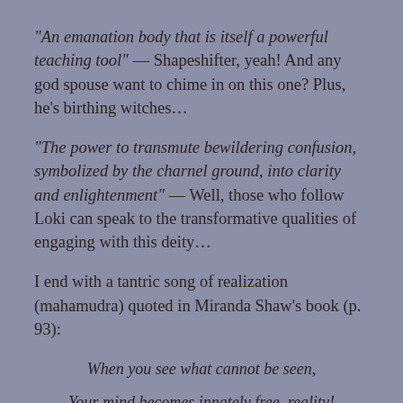“An emanation body that is itself a powerful teaching tool” — Shapeshifter, yeah! And any god spouse want to chime in on this one? Plus, he’s birthing witches…
“The power to transmute bewildering confusion, symbolized by the charnel ground, into clarity and enlightenment” — Well, those who follow Loki can speak to the transformative qualities of engaging with this deity…
I end with a tantric song of realization (mahamudra) quoted in Miranda Shaw’s book (p. 93):
When you see what cannot be seen,
Your mind becomes innately free–reality!
Leave the stallion, the wind, behind,